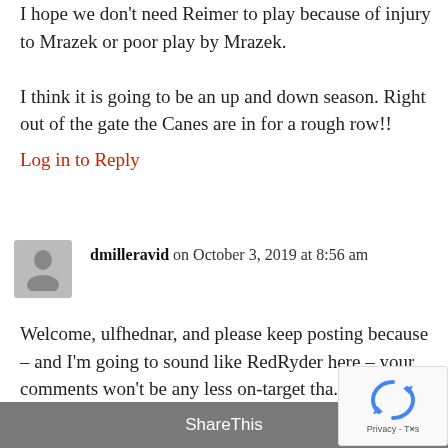I hope we don't need Reimer to play because of injury to Mrazek or poor play by Mrazek.
I think it is going to be an up and down season. Right out of the gate the Canes are in for a rough row!!
Log in to Reply
dmilleravid on October 3, 2019 at 8:56 am
Welcome, ulfhednar, and please keep posting because – and I'm going to sound like RedRyder here – your comments won't be any less on-target tha...
ShareThis